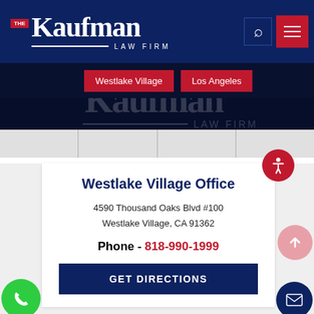[Figure (screenshot): The Kaufman Law Firm website header with logo, search icon, hamburger menu, and location buttons for Westlake Village and Los Angeles]
Westlake Village Office
4590 Thousand Oaks Blvd #100
Westlake Village, CA 91362
Phone - 818-990-1999
GET DIRECTIONS